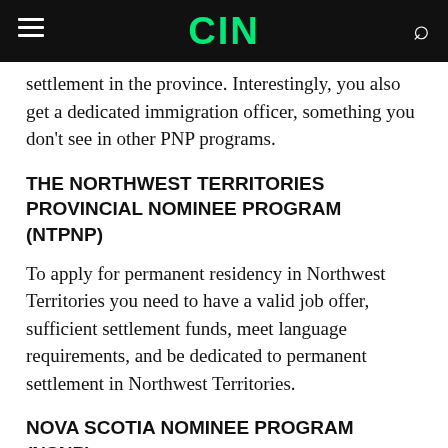CIN
settlement in the province. Interestingly, you also get a dedicated immigration officer, something you don't see in other PNP programs.
THE NORTHWEST TERRITORIES PROVINCIAL NOMINEE PROGRAM (NTPNP)
To apply for permanent residency in Northwest Territories you need to have a valid job offer, sufficient settlement funds, meet language requirements, and be dedicated to permanent settlement in Northwest Territories.
NOVA SCOTIA NOMINEE PROGRAM (NSNP)
You can apply for Nova Scotia Express Entry if you qualify for a federal economic immigration program. Nova Scotia